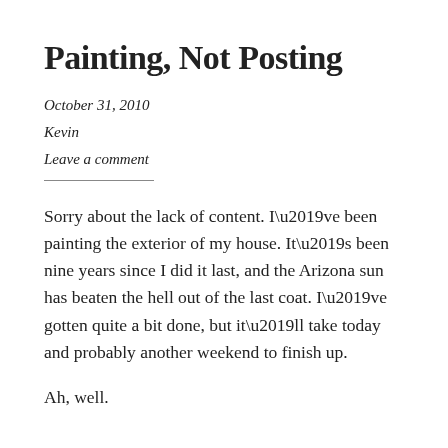Painting, Not Posting
October 31, 2010
Kevin
Leave a comment
Sorry about the lack of content. I’ve been painting the exterior of my house. It’s been nine years since I did it last, and the Arizona sun has beaten the hell out of the last coat. I’ve gotten quite a bit done, but it’ll take today and probably another weekend to finish up.
Ah, well.